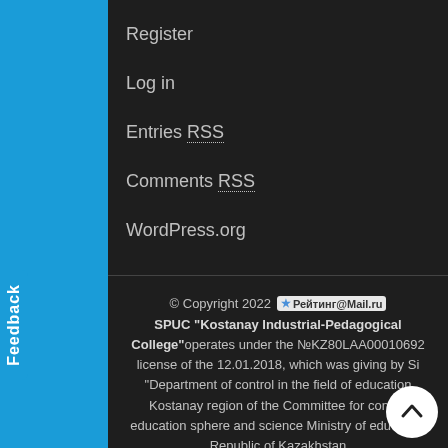Register
Log in
Entries RSS
Comments RSS
WordPress.org
© Copyright 2022 [Рейтинг@Mail.ru] SPUC "Kostanay Industrial-Pedagogical College" operates under the №KZ80LAA00010692 license of the 12.01.2018, which was giving by Si "Department of control in the field of education Kostanay region of the Committee for control education sphere and science Ministry of education Republic of Kazakhstan